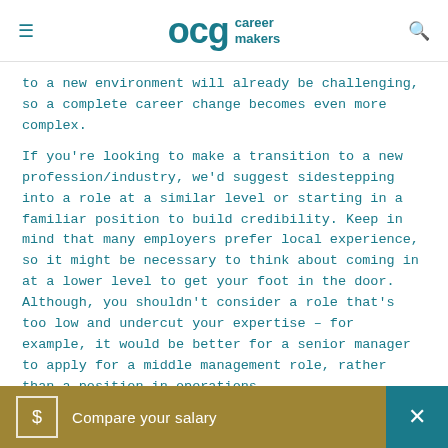OCG career makers
to a new environment will already be challenging, so a complete career change becomes even more complex.
If you're looking to make a transition to a new profession/industry, we'd suggest sidestepping into a role at a similar level or starting in a familiar position to build credibility. Keep in mind that many employers prefer local experience, so it might be necessary to think about coming in at a lower level to get your foot in the door. Although, you shouldn't consider a role that's too low and undercut your expertise – for example, it would be better for a senior manager to apply for a middle management role, rather than a position in operations.
Another opt
[Figure (infographic): Compare your salary banner with dollar sign icon in gold and teal close button]